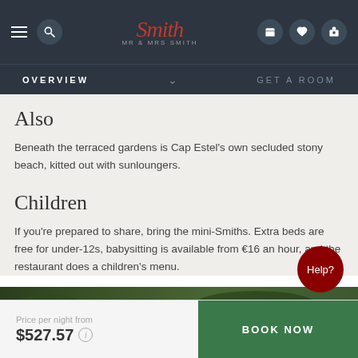Mr & Mrs Smith — Navigation bar with logo, hamburger, search, phone, wishlist, and luggage icons
OVERVIEW   ∨   GET A ROOM
Also
Beneath the terraced gardens is Cap Estel's own secluded stony beach, kitted out with sunloungers.
Children
If you're prepared to share, bring the mini-Smiths. Extra beds are free for under-12s, babysitting is available from €16 an hour, and the restaurant does a children's menu.
[Figure (photo): Partial view of terraced green garden/vegetation at the bottom of the content area]
Price per night from $527.57   BOOK NOW